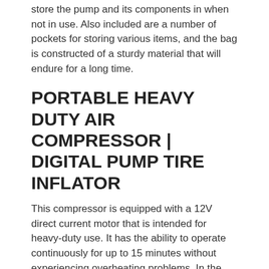store the pump and its components in when not in use. Also included are a number of pockets for storing various items, and the bag is constructed of a sturdy material that will endure for a long time.
PORTABLE HEAVY DUTY AIR COMPRESSOR | DIGITAL PUMP TIRE INFLATOR
This compressor is equipped with a 12V direct current motor that is intended for heavy-duty use. It has the ability to operate continuously for up to 15 minutes without experiencing overheating problems. In the event of overheating, it immediately shuts down in order to prevent further harm.
According to the manufacturer's specifications, it will take less than 3.5 minutes to inflate your tires